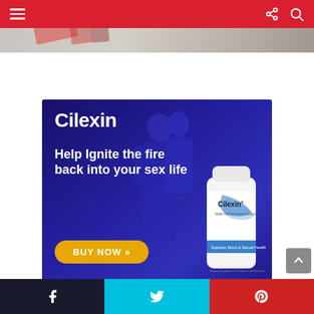[Figure (screenshot): Website header with red navigation bar containing hamburger menu and search/share icons, and a top banner image showing colorful fabric or clothing.]
[Figure (advertisement): Cilexin male performance supplement advertisement with dark blue background showing a couple, large white text 'Cilexin' and 'Help Ignite the fire back into your sex life', yellow 'BUY NOW' button, and product bottle on right side.]
[Figure (infographic): Social share bar at bottom with three sections: dark Facebook (f icon), cyan Twitter (bird icon), red Pinterest (P icon).]